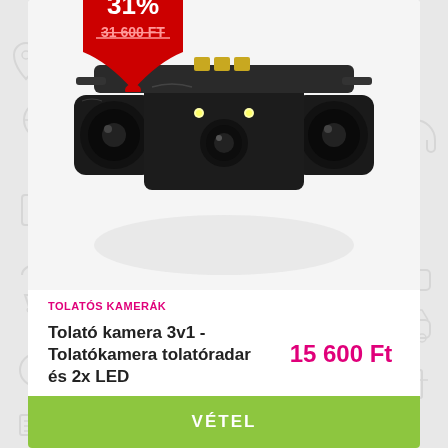[Figure (photo): Product photo of a 3-in-1 reversing camera with two parking radar sensors and LED lights, black color, on white/grey background. A red discount badge in the top-left shows '31%' discount and original price '31 600 FT' struck through.]
TOLATÓS KAMERÁK
Tolató kamera 3v1 - Tolatókamera tolatóradar és 2x LED
15 600 Ft
VÉTEL